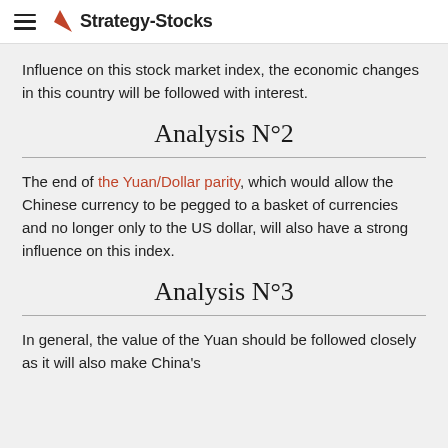Strategy-Stocks
Influence on this stock market index, the economic changes in this country will be followed with interest.
Analysis N°2
The end of the Yuan/Dollar parity, which would allow the Chinese currency to be pegged to a basket of currencies and no longer only to the US dollar, will also have a strong influence on this index.
Analysis N°3
In general, the value of the Yuan should be followed closely as it will also make China's